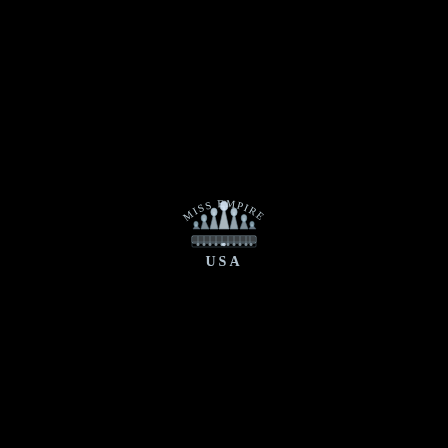[Figure (logo): Miss Empire USA logo: circular arched text 'MISS EMPIRE' above a silver/white tiara crown illustration, with 'USA' text below in silver serif lettering, all on a black background.]